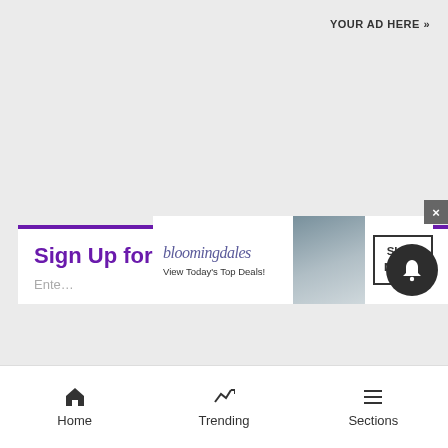YOUR AD HERE »
Sign Up for Our Newsletters
Ente…
[Figure (illustration): Bloomingdales advertisement banner showing brand logo, tagline 'View Today's Top Deals!', a woman with a large sun hat, and a 'SHOP NOW >' button]
[Figure (other): Close button (X) in gray]
[Figure (other): Bell notification round dark button]
Home  Trending  Sections